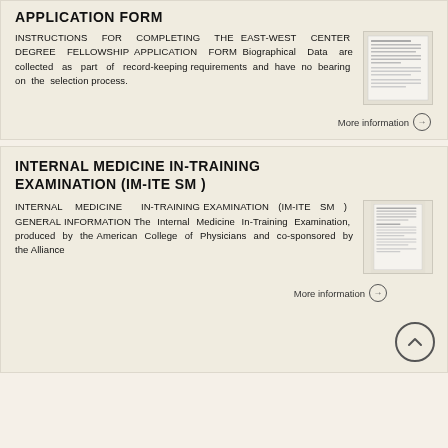APPLICATION FORM
INSTRUCTIONS FOR COMPLETING THE EAST-WEST CENTER DEGREE FELLOWSHIP APPLICATION FORM Biographical Data are collected as part of record-keeping requirements and have no bearing on the selection process.
[Figure (screenshot): Thumbnail image of a document page with text lines]
More information →
INTERNAL MEDICINE IN-TRAINING EXAMINATION (IM-ITE SM )
INTERNAL MEDICINE IN-TRAINING EXAMINATION (IM-ITE SM ) GENERAL INFORMATION The Internal Medicine In-Training Examination, produced by the American College of Physicians and co-sponsored by the Alliance
[Figure (screenshot): Thumbnail image of a document page with text lines]
More information →